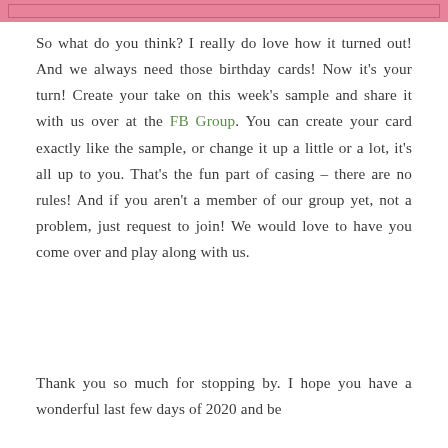[Figure (other): Pink decorative header bar with inner border]
So what do you think? I really do love how it turned out! And we always need those birthday cards! Now it's your turn! Create your take on this week's sample and share it with us over at the FB Group. You can create your card exactly like the sample, or change it up a little or a lot, it's all up to you. That's the fun part of casing – there are no rules! And if you aren't a member of our group yet, not a problem, just request to join! We would love to have you come over and play along with us.
Thank you so much for stopping by. I hope you have a wonderful last few days of 2020 and be